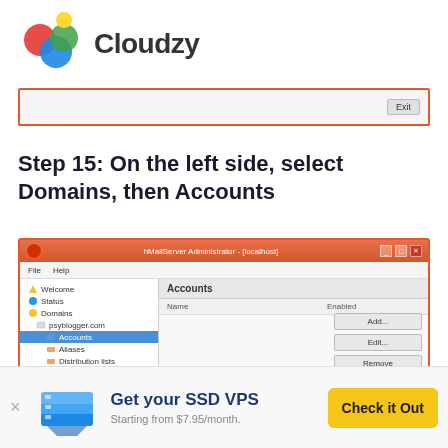[Figure (logo): Cloudzy logo with colorful overlapping circles and bold text]
[Figure (screenshot): Partial screenshot of hMailServer Administrator showing Exit button]
Step 15: On the left side, select Domains, then Accounts
[Figure (screenshot): hMailServer Administrator window showing tree with Domains > psyblogger.com > Accounts selected, and Accounts panel on right with Add, Edit, Remove buttons]
[Figure (infographic): Advertisement banner: Get your SSD VPS - Starting from $7.95/month - Check it Out button]